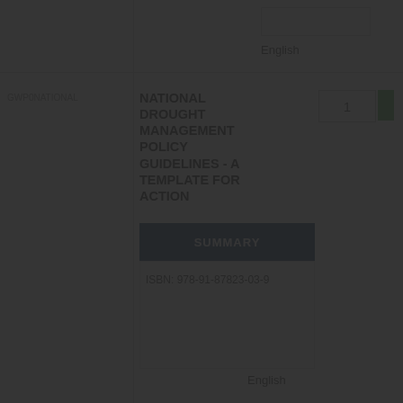English
GWP0... NATIONAL DROUGHT MANAGEMENT POLICY GUIDELINES - A TEMPLATE FOR ACTION
In stock
1
SUMMARY
ISBN: 978-91-87823-03-9
English
1
NATIONAL DROUGHT ACTION
Denna sajt använder kakor för att hålla reda på sessioner och varukorgar. Genom att fortsätta använda sajten godkänner du denna användning av kakor.
This site uses cookies to keep track of user sessions and sales baskets. By using this website you agree to our use of cookies. More details can be found in our privacy policy.
Do not show this message again